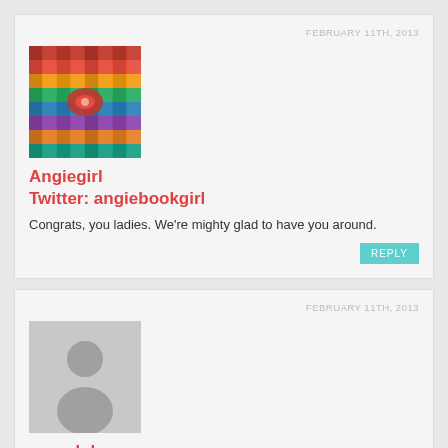FEBRUARY 11TH, 2013
[Figure (photo): Colorful yarn or thread spools avatar image for user Angiegirl]
Angiegirl
Twitter: angiebookgirl
Congrats, you ladies. We're mighty glad to have you around.
REPLY
FEBRUARY 11TH, 2013
[Figure (illustration): Generic placeholder avatar with silhouette of a person on gray background]
ramydul
Twitter: ramydul
Happy Blogoversary!I really like this new look!
REPLY